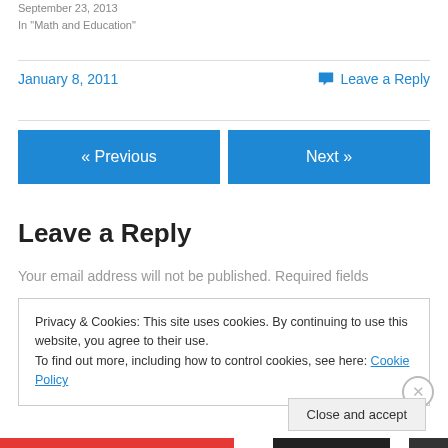September 23, 2013
In "Math and Education"
January 8, 2011
💬 Leave a Reply
« Previous
Next »
Leave a Reply
Your email address will not be published. Required fields
Privacy & Cookies: This site uses cookies. By continuing to use this website, you agree to their use.
To find out more, including how to control cookies, see here: Cookie Policy
Close and accept